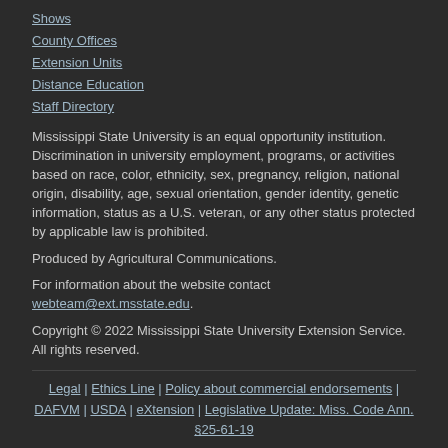Shows
County Offices
Extension Units
Distance Education
Staff Directory
Mississippi State University is an equal opportunity institution. Discrimination in university employment, programs, or activities based on race, color, ethnicity, sex, pregnancy, religion, national origin, disability, age, sexual orientation, gender identity, genetic information, status as a U.S. veteran, or any other status protected by applicable law is prohibited.
Produced by Agricultural Communications.
For information about the website contact webteam@ext.msstate.edu.
Copyright © 2022 Mississippi State University Extension Service. All rights reserved.
Legal | Ethics Line | Policy about commercial endorsements | DAFVM | USDA | eXtension | Legislative Update: Miss. Code Ann. §25-61-19